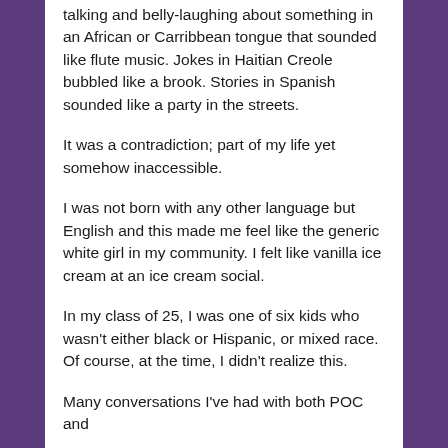talking and belly-laughing about something in an African or Carribbean tongue that sounded like flute music. Jokes in Haitian Creole bubbled like a brook. Stories in Spanish sounded like a party in the streets.

It was a contradiction; part of my life yet somehow inaccessible.

I was not born with any other language but English and this made me feel like the generic white girl in my community. I felt like vanilla ice cream at an ice cream social.

In my class of 25, I was one of six kids who wasn't either black or Hispanic, or mixed race. Of course, at the time, I didn't realize this.

Many conversations I've had with both POC and